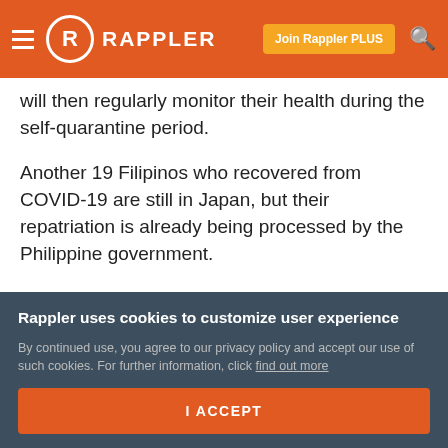Rappler
will then regularly monitor their health during the self-quarantine period.
Another 19 Filipinos who recovered from COVID-19 are still in Japan, but their repatriation is already being processed by the Philippine government.
The Diamond Princess cruise ship carried about 3,700 people – among them 531 Filipino crew members and 7 Filipino passengers – when it reached the port of
Rappler uses cookies to customize user experience
By continued use, you agree to our privacy policy and accept our use of such cookies. For further information, click find out more
I ACCEPT